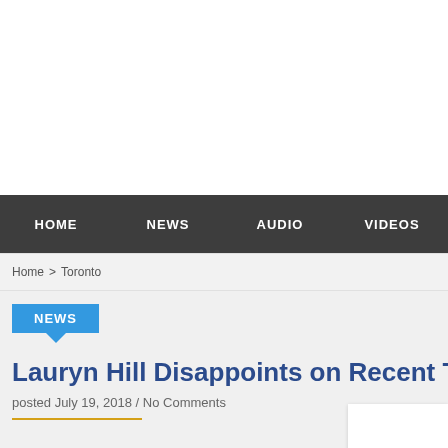[Figure (other): White banner/advertisement area at the top of the webpage]
HOME   NEWS   AUDIO   VIDEOS
Home > Toronto
NEWS
Lauryn Hill Disappoints on Recent Tour Sto
posted July 19, 2018 / No Comments